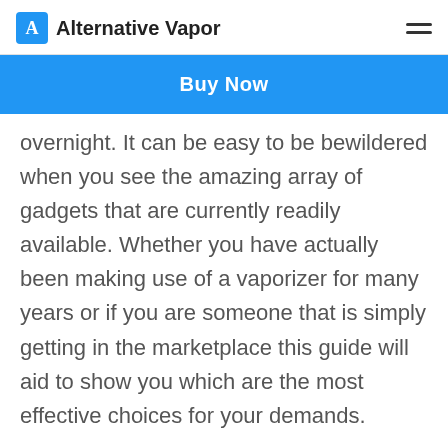Alternative Vapor
[Figure (other): Blue Buy Now button banner]
overnight. It can be easy to be bewildered when you see the amazing array of gadgets that are currently readily available. Whether you have actually been making use of a vaporizer for many years or if you are someone that is simply getting in the marketplace this guide will aid to show you which are the most effective choices for your demands.